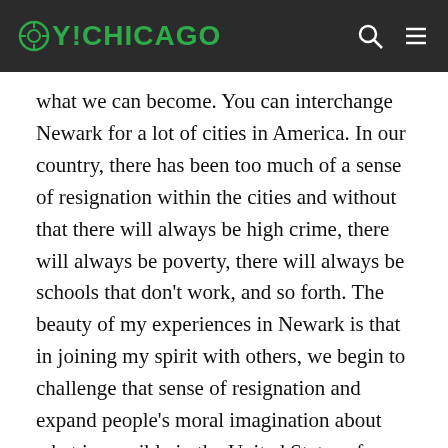OY!CHICAGO
what we can become. You can interchange Newark for a lot of cities in America. In our country, there has been too much of a sense of resignation within the cities and without that there will always be high crime, there will always be poverty, there will always be schools that don't work, and so forth. The beauty of my experiences in Newark is that in joining my spirit with others, we begin to challenge that sense of resignation and expand people's moral imagination about what is possible in the United States of America and in this world and good people working under God.
Speaking of cities, are you a fan of Chicago?
I'm definitely a fan of cities – urban spaces are sacred